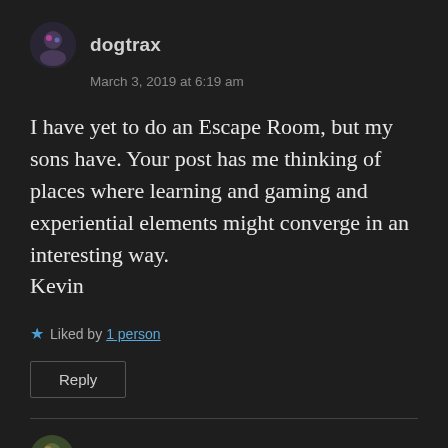[Figure (other): User avatar for dogtrax, circular profile image with dark background]
dogtrax
March 3, 2019 at 6:19 am
I have yet to do an Escape Room, but my sons have. Your post has me thinking of places where learning and gaming and experiential elements might converge in an interesting way.
Kevin
★ Liked by 1 person
Reply
[Figure (other): User avatar for lgrainger125, circular profile image]
lgrainger125